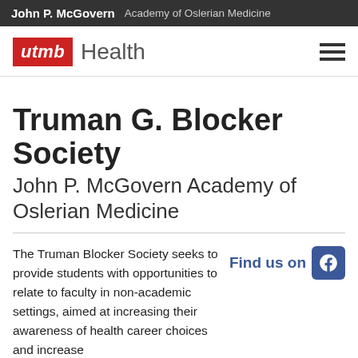John P. McGovern  Academy of Oslerian Medicine
[Figure (logo): UTMB Health logo with red utmb box and Health wordmark, plus hamburger menu icon]
Truman G. Blocker Society
John P. McGovern Academy of Oslerian Medicine
The Truman Blocker Society seeks to provide students with opportunities to relate to faculty in non-academic settings, aimed at increasing their awareness of health career choices and increase